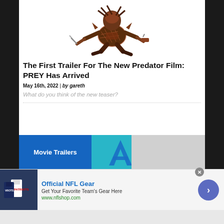[Figure (illustration): Illustration of the Predator character from the PREY film, shown in a crouching/action pose with armor, weapons, and netting. Brown and orange color scheme on white background.]
The First Trailer For The New Predator Film: PREY Has Arrived
May 16th, 2022 | by gareth
What do you think of the new teaser?
[Figure (screenshot): Movie Trailers banner with blue label on left, teal section with letter A in the middle, and grey section on the right.]
[Figure (screenshot): Advertisement for Official NFL Gear. Shows NFL jerseys image on left, text 'Official NFL Gear - Get Your Favorite Team's Gear Here - www.nflshop.com', arrow button on right. Close button with X visible.]